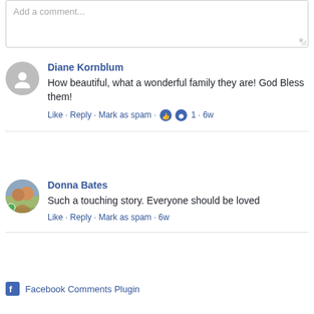Add a comment...
Diane Kornblum
How beautiful, what a wonderful family they are! God Bless them!
Like · Reply · Mark as spam · 1 · 6w
Donna Bates
Such a touching story. Everyone should be loved
Like · Reply · Mark as spam · 6w
Facebook Comments Plugin